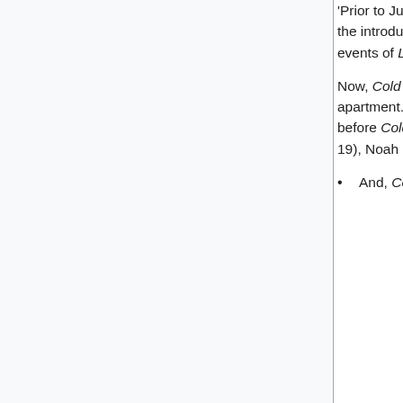'Prior to June 23' for The Swimmer. Since Claire received Rebel's text in Trust and Blood, and the introduction for Libertad says that Claire was "not the first" to receive these messages, the events of Libertad must be before those of Trust and Blood, alas, "Prior to June 21".
Now, Cold Wars takes place on June 23. A week before that (ie. June 16), Noah visits Danko's apartment. Three weeks before Cold Wars (ie. June 2), Danko and Noah argue. Four weeks before Cold Wars (ie. May 26), Noah and Nathan meet. Five weeks before Cold Wars (ie. May 19), Noah and Angela meet. --Radicell 04:47, 3 March 2009 (EST)
And, Cold Wars takes place at night, so Exposed takes place the next day,